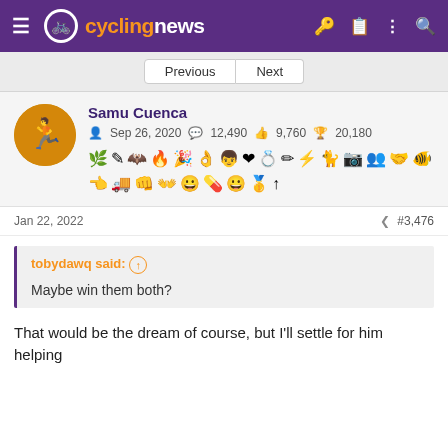cyclingnews
Previous | Next
Samu Cuenca
Sep 26, 2020  12,490  9,760  20,180
Jan 22, 2022  #3,476
tobydawq said: ↑

Maybe win them both?
That would be the dream of course, but I'll settle for him helping